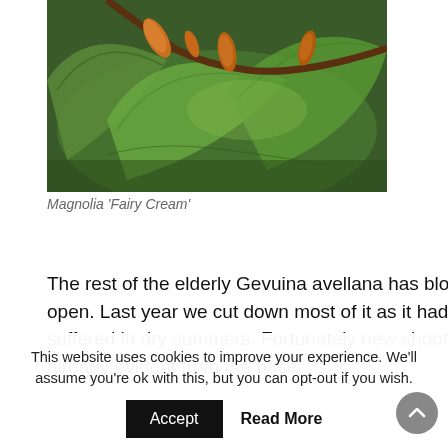[Figure (photo): Close-up photo of Magnolia 'Fairy Cream' plant showing green leaves and orange-brown buds on branches]
Magnolia 'Fairy Cream'
The rest of the elderly Gevuina avellana has blown open. Last year we cut down most of it as it had suffered in dry summers. Fortunately new shoots are already evident from the base.
This website uses cookies to improve your experience. We'll assume you're ok with this, but you can opt-out if you wish.